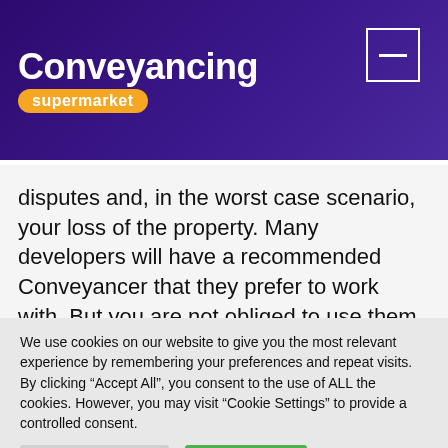Conveyancing supermarket
disputes and, in the worst case scenario, your loss of the property. Many developers will have a recommended Conveyancer that they prefer to work with. But you are not obliged to use them and you should certainly compare conveyancing costs before appointing a solicitor.
We use cookies on our website to give you the most relevant experience by remembering your preferences and repeat visits. By clicking "Accept All", you consent to the use of ALL the cookies. However, you may visit "Cookie Settings" to provide a controlled consent.